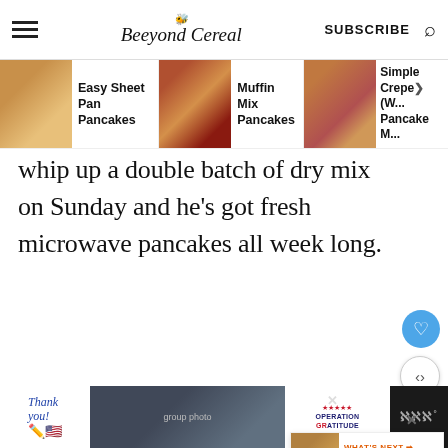Beeyond Cereal | SUBSCRIBE
[Figure (screenshot): Navigation strip showing three food items: Easy Sheet Pan Pancakes, Muffin Mix Pancakes, Simple Crepe (Pancake M...)]
whip up a double batch of dry mix on Sunday and he's got fresh microwave pancakes all week long.
ADVERTISEMENT
[Figure (photo): Operation Gratitude advertisement banner with Thank you text, people holding cards, and Operation Gratitude logo]
[Figure (screenshot): WHAT'S NEXT: Slow Cooker Cabbage wit... with thumbnail of stew]
[Figure (photo): Bottom bar advertisement: Operation Gratitude ad with Thank you text and firefighters group photo]